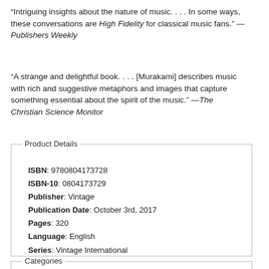“Intriguing insights about the nature of music. . . . In some ways, these conversations are High Fidelity for classical music fans.” —Publishers Weekly
“A strange and delightful book. . . . [Murakami] describes music with rich and suggestive metaphors and images that capture something essential about the spirit of the music.” —The Christian Science Monitor
| ISBN | 9780804173728 |
| ISBN-10 | 0804173729 |
| Publisher | Vintage |
| Publication Date | October 3rd, 2017 |
| Pages | 320 |
| Language | English |
| Series | Vintage International |
Categories